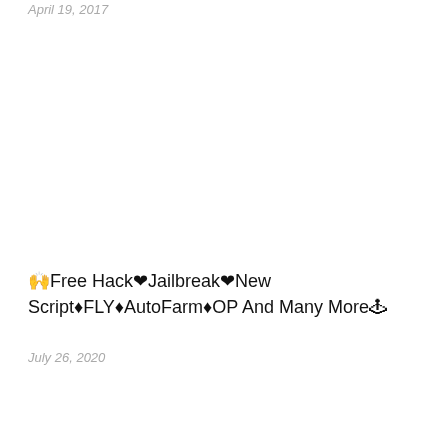April 19, 2017
🙌Free Hack❤Jailbreak❤New Script♦FLY♦AutoFarm♦OP And Many More🕹
July 26, 2020